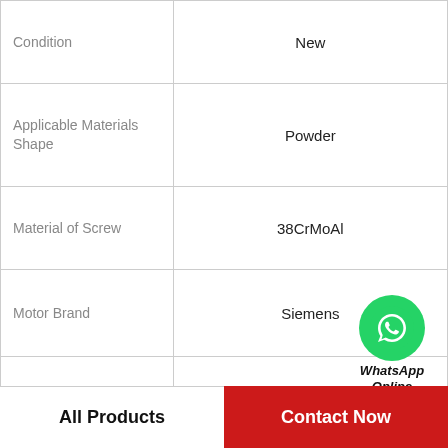| Property | Value |
| --- | --- |
| Condition | New |
| Applicable Materials Shape | Powder |
| Material of Screw | 38CrMoAl |
| Motor Brand | Siemens |
| Inverter Brand | Delta |
| Bearings Brand | SKF |
| Barrel | Alloy |
| Material of Machine | Stainless Steel |
[Figure (logo): WhatsApp Online badge with green circle phone icon and bold italic text 'WhatsApp Online']
All Products
Contact Now